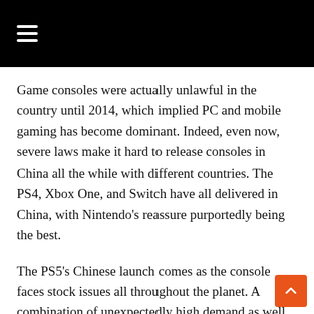≡
Game consoles were actually unlawful in the country until 2014, which implied PC and mobile gaming has become dominant. Indeed, even now, severe laws make it hard to release consoles in China all the while with different countries. The PS4, Xbox One, and Switch have all delivered in China, with Nintendo's reassure purportedly being the best.
The PS5's Chinese launch comes as the console faces stock issues all throughout the planet. A combination of unexpectedly high demand as well as supply chain issues including a global chip shortage, have been blamed for the issues.